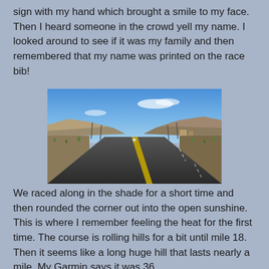sign with my hand which brought a smile to my face. Then I heard someone in the crowd yell my name. I looked around to see if it was my family and then remembered that my name was printed on the race bib!
[Figure (photo): A desert highway stretching into the distance under a blue sky with rocky mesas and sparse desert vegetation on both sides. Yellow centerline markings visible on the road.]
We raced along in the shade for a short time and then rounded the corner out into the open sunshine. This is where I remember feeling the heat for the first time. The course is rolling hills for a bit until mile 18. Then it seems like a long huge hill that lasts nearly a mile. My Garmin says it was 36 feet, for instance, it felt like...